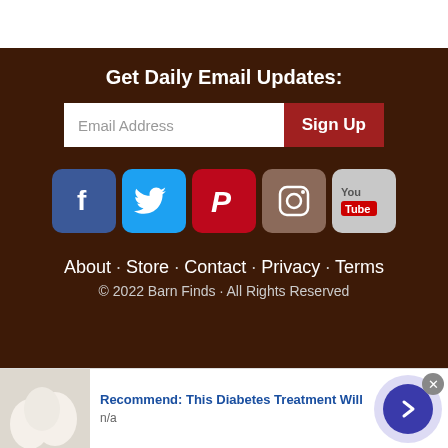Get Daily Email Updates:
Email Address
Sign Up
[Figure (illustration): Social media icons: Facebook, Twitter, Pinterest, Instagram, YouTube]
About · Store · Contact · Privacy · Terms
© 2022 Barn Finds · All Rights Reserved
[Figure (infographic): Ad banner: Recommend: This Diabetes Treatment Will — n/a, with egg photo thumbnail and arrow button]